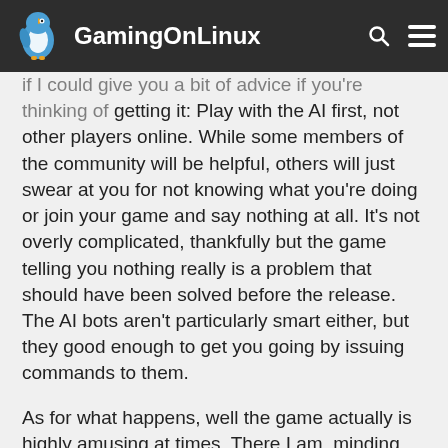GamingOnLinux
if I could give you a bit of advice if you're thinking of getting it: Play with the AI first, not other players online. While some members of the community will be helpful, others will just swear at you for not knowing what you're doing or join your game and say nothing at all. It's not overly complicated, thankfully but the game telling you nothing really is a problem that should have been solved before the release. The AI bots aren't particularly smart either, but they good enough to get you going by issuing commands to them.
As for what happens, well the game actually is highly amusing at times. There I am, minding my own business, looking out into the vastness of the sea completely oblivious to the fact that we were under attack. Some kind of monstrosity had made it aboard: